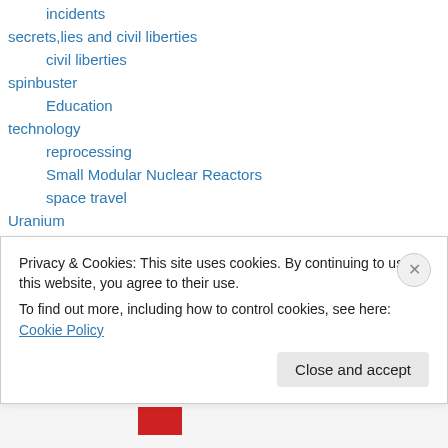incidents
secrets,lies and civil liberties
civil liberties
spinbuster
Education
technology
reprocessing
Small Modular Nuclear Reactors
space travel
Uranium
wastes
– plutonium
decommission reactor
Privacy & Cookies: This site uses cookies. By continuing to use this website, you agree to their use.
To find out more, including how to control cookies, see here: Cookie Policy
Close and accept